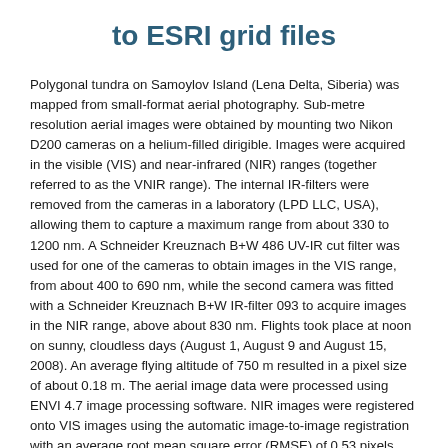to ESRI grid files
Polygonal tundra on Samoylov Island (Lena Delta, Siberia) was mapped from small-format aerial photography. Sub-metre resolution aerial images were obtained by mounting two Nikon D200 cameras on a helium-filled dirigible. Images were acquired in the visible (VIS) and near-infrared (NIR) ranges (together referred to as the VNIR range). The internal IR-filters were removed from the cameras in a laboratory (LPD LLC, USA), allowing them to capture a maximum range from about 330 to 1200 nm. A Schneider Kreuznach B+W 486 UV-IR cut filter was used for one of the cameras to obtain images in the VIS range, from about 400 to 690 nm, while the second camera was fitted with a Schneider Kreuznach B+W IR-filter 093 to acquire images in the NIR range, above about 830 nm. Flights took place at noon on sunny, cloudless days (August 1, August 9 and August 15, 2008). An average flying altitude of 750 m resulted in a pixel size of about 0.18 m. The aerial image data were processed using ENVI 4.7 image processing software. NIR images were registered onto VIS images using the automatic image-to-image registration with an average root mean square error (RMSE) of 0.53 pixels. The resulting VNIR images were then georeferenced to UTM (WGS84, 52N) based on an orthomosaic of the island from 2007 with a